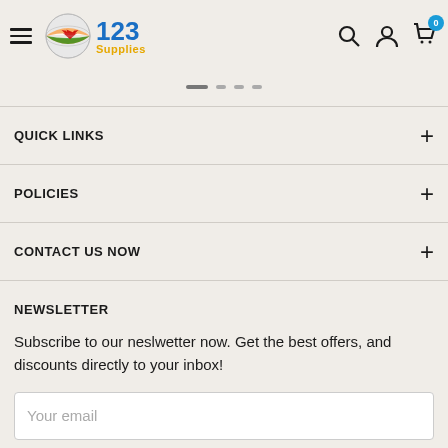123 Supplies — navigation header with hamburger menu, logo, search, account, and cart icons
QUICK LINKS
POLICIES
CONTACT US NOW
NEWSLETTER
Subscribe to our neslwetter now. Get the best offers, and discounts directly to your inbox!
Your email